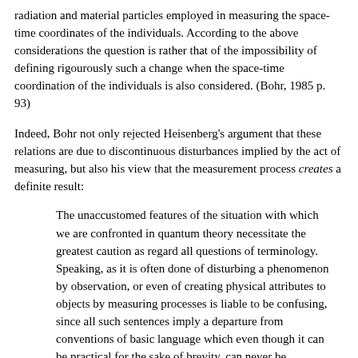radiation and material particles employed in measuring the space-time coordinates of the individuals. According to the above considerations the question is rather that of the impossibility of defining rigourously such a change when the space-time coordination of the individuals is also considered. (Bohr, 1985 p. 93)
Indeed, Bohr not only rejected Heisenberg's argument that these relations are due to discontinuous disturbances implied by the act of measuring, but also his view that the measurement process creates a definite result:
The unaccustomed features of the situation with which we are confronted in quantum theory necessitate the greatest caution as regard all questions of terminology. Speaking, as it is often done of disturbing a phenomenon by observation, or even of creating physical attributes to objects by measuring processes is liable to be confusing, since all such sentences imply a departure from conventions of basic language which even though it can be practical for the sake of brevity, can never be unambiguous. (Bohr, 1939, p. 24)